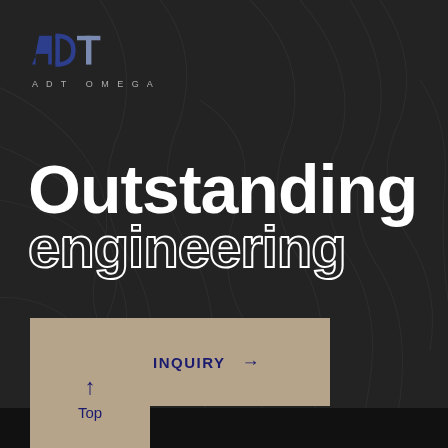[Figure (logo): ADT Omega logo with stylized A, D, T letters in blue/grey triangular geometric shapes, with text ADT OMEGA below]
Outstanding engineering
PROJECT INQUIRY →
↑ Top